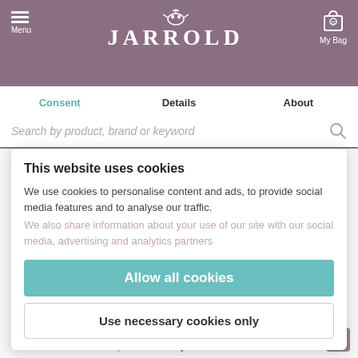[Figure (screenshot): Jarrold website header with purple/mauve background, hamburger menu icon on left, JARROLD logo in center, shopping bag icon on right showing 0 items]
Menu | JARROLD | My Bag 0
Consent | Details | About
Search by product, brand or keyword
This website uses cookies
We use cookies to personalise content and ads, to provide social media features and to analyse our traffic. We also share information about your use of our site with our social media, advertising and analytics partners
Allow all cookies
Ultimate Performance Ultimate Elastic Knee Support
£16.00
Ultimate Performance Ultimate Plantar Fascia Sock
£25.00
Use necessary cookies only
Powered by Cookiebot by Usercentrics